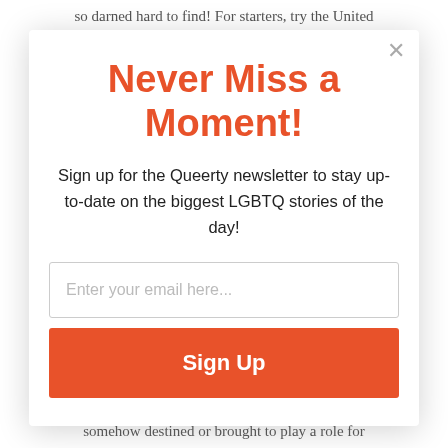so darned hard to find! For starters, try the United
Never Miss a Moment!
Sign up for the Queerty newsletter to stay up-to-date on the biggest LGBTQ stories of the day!
Enter your email here...
Sign Up
somehow destined or brought to play a role for